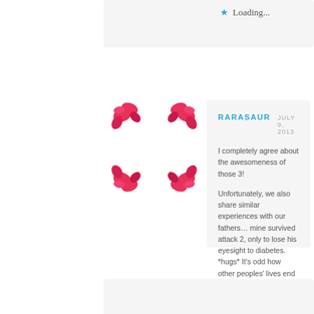Loading...
[Figure (illustration): User avatar with pink/red floral decorative border pattern around a white square center]
RARASAUR  JULY 9, 2013
I completely agree about the awesomeness of those 3!
Unfortunately, we also share similar experiences with our fathers… mine survived attack 2, only to lose his eyesight to diabetes. *hugs* It's odd how other peoples' lives end up being such a big part of us, isn't it?
Loading...